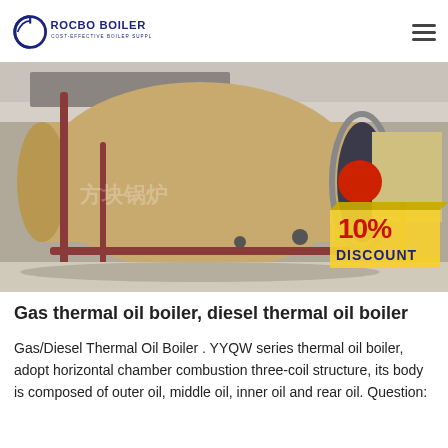ROCBO BOILER - COST-EFFECTIVE BOILER SUPPLIER
[Figure (photo): Industrial gas/diesel thermal oil boilers with large cylindrical tan tanks in a factory setting. A red and yellow '10% DISCOUNT' badge is overlaid in the lower right corner.]
Gas thermal oil boiler, diesel thermal oil boiler
Gas/Diesel Thermal Oil Boiler . YYQW series thermal oil boiler, adopt horizontal chamber combustion three-coil structure, its body is composed of outer oil, middle oil, inner oil and rear oil. Question: